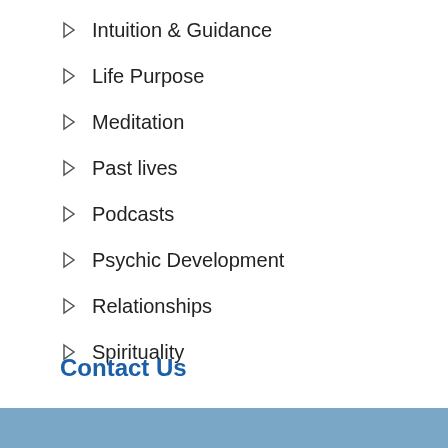Intuition & Guidance
Life Purpose
Meditation
Past lives
Podcasts
Psychic Development
Relationships
Spirituality
Contact Us